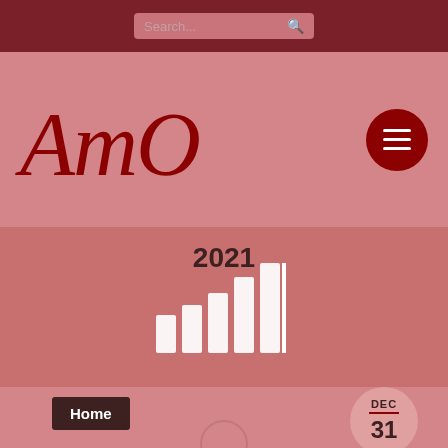Search...
AmO
[Figure (bar-chart): 2021]
Home
DEC 31